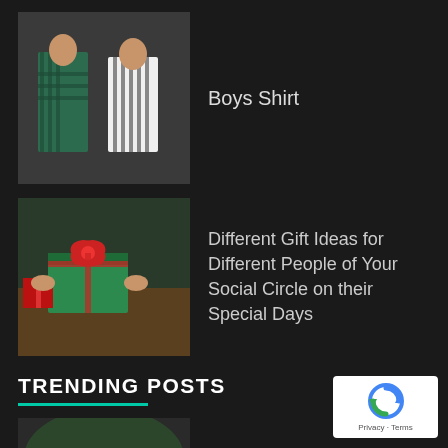[Figure (photo): Two boys wearing shirts, one in a green/teal plaid shirt]
Boys Shirt
[Figure (photo): Person wrapping a green gift box with a red bow]
Different Gift Ideas for Different People of Your Social Circle on their Special Days
TRENDING POSTS
[Figure (photo): Two students in school uniforms looking at a book]
ML Aggarwal's Class 10 Maths Book of ICSE Board
[Figure (logo): Google reCAPTCHA badge with Privacy and Terms text]